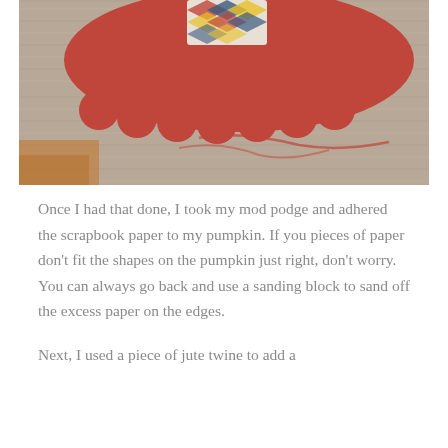[Figure (photo): Close-up photo of a red/terra-cotta scalloped paper cutout shape and a small patterned paper piece with chevron pattern placed on brown kraft/cardboard-textured paper background, with red paint or ink marks visible on the kraft paper.]
Once I had that done, I took my mod podge and adhered the scrapbook paper to my pumpkin. If you pieces of paper don't fit the shapes on the pumpkin just right, don't worry. You can always go back and use a sanding block to sand off the excess paper on the edges.
Next, I used a piece of jute twine to add a